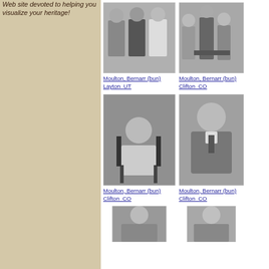Web site devoted to helping you visualize your heritage!
[Figure (photo): Black and white photo of elderly couple and woman, three people standing]
Moulton, Bernarr (bun) Layton  UT
[Figure (photo): Black and white photo of children group, three children posed]
Moulton, Bernarr (bun) Clifton  CO
[Figure (photo): Black and white photo of baby/toddler seated on chair in white dress]
Moulton, Bernarr (bun) Clifton  CO
[Figure (photo): Black and white portrait photo of young man in suit]
Moulton, Bernarr (bun) Clifton  CO
[Figure (photo): Black and white photo of woman, partially visible at bottom]
[Figure (photo): Black and white photo of man, partially visible at bottom]